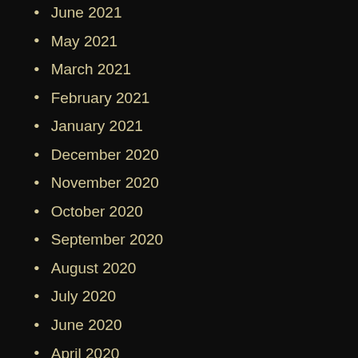June 2021
May 2021
March 2021
February 2021
January 2021
December 2020
November 2020
October 2020
September 2020
August 2020
July 2020
June 2020
April 2020
March 2020
October 2019
August 2019
May 2019
February 2019
January 2019
December 2018